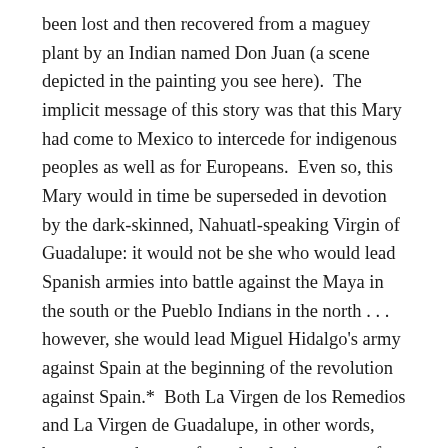been lost and then recovered from a maguey plant by an Indian named Don Juan (a scene depicted in the painting you see here).  The implicit message of this story was that this Mary had come to Mexico to intercede for indigenous peoples as well as for Europeans.  Even so, this Mary would in time be superseded in devotion by the dark-skinned, Nahuatl-speaking Virgin of Guadalupe: it would not be she who would lead Spanish armies into battle against the Maya in the south or the Pueblo Indians in the north . . . however, she would lead Miguel Hidalgo's army against Spain at the beginning of the revolution against Spain.*  Both La Virgen de los Remedios and La Virgen de Guadalupe, in other words, became touchstones for a developing sense of respectively, criollo and Mexican identity.  (D. A. Brading traces out the Guadalupan thread of that story in his book Mexican Phoenix.)